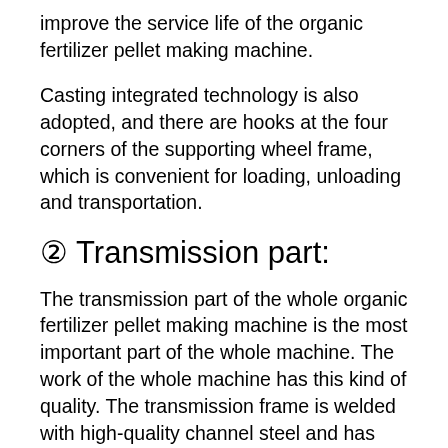improve the service life of the organic fertilizer pellet making machine.
Casting integrated technology is also adopted, and there are hooks at the four corners of the supporting wheel frame, which is convenient for loading, unloading and transportation.
② Transmission part:
The transmission part of the whole organic fertilizer pellet making machine is the most important part of the whole machine. The work of the whole machine has this kind of quality. The transmission frame is welded with high-quality channel steel and has passed the strict requirements.